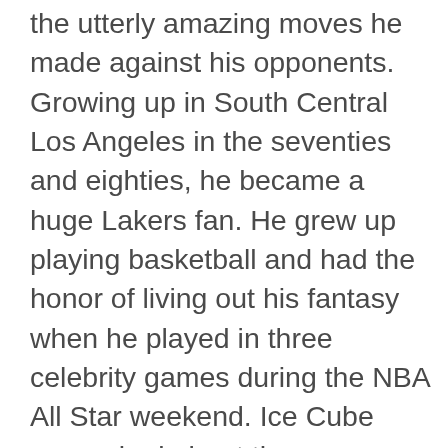the utterly amazing moves he made against his opponents. Growing up in South Central Los Angeles in the seventies and eighties, he became a huge Lakers fan. He grew up playing basketball and had the honor of living out his fantasy when he played in three celebrity games during the NBA All Star weekend. Ice Cube was asked about the relationship between NBA players and rappers and he said," We all come from the same neighborhood, in a way. We all understand we are a rare breed. To make it out and see a little more than just your environment. I think that right there makes us have something in common. We're all judged or critiqued by our work that also creates a relationship. And we both admire each other. I think entertainers admire sports figures because you see them at